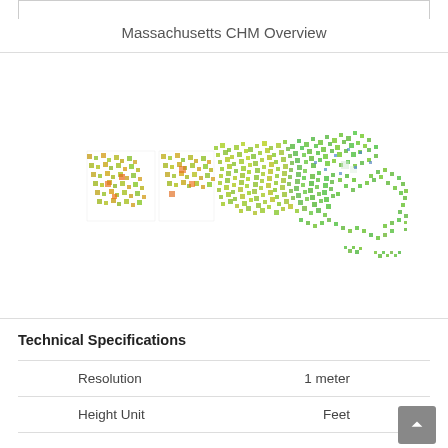Massachusetts CHM Overview
[Figure (map): Massachusetts state map showing canopy height model (CHM) data visualized as colored dots ranging from green (low/coastal) to yellow-green and yellow (higher elevation/canopy) to orange (highest canopy), showing the shape of Massachusetts including Cape Cod.]
Technical Specifications
|  |  |
| --- | --- |
| Resolution | 1 meter |
| Height Unit | Feet |